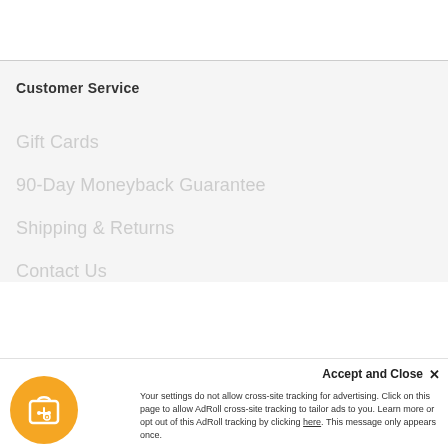Customer Service
Gift Cards
90-Day Moneyback Guarantee
Shipping & Returns
Contact Us
Accept and Close ×  Your settings do not allow cross-site tracking for advertising. Click on this page to allow AdRoll cross-site tracking to tailor ads to you. Learn more or opt out of this AdRoll tracking by clicking here. This message only appears once.